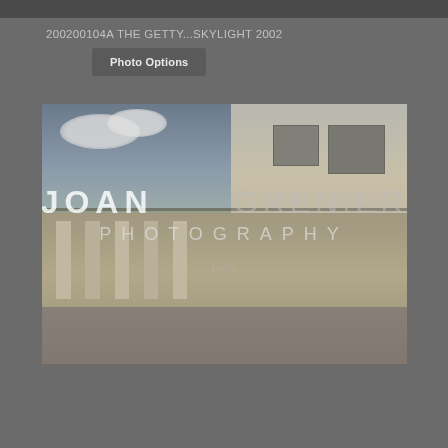200200104A THE GETTY...SKYLIGHT 2002
Photo Options
[Figure (photo): Black and white photograph of The Getty building showing open-air colonnade with stone columns, building walls with windows, and cloudy sky above. A watermark overlay reads 'JOAN GRENIER PHOTOGRAPHY' and '100%' in the center.]